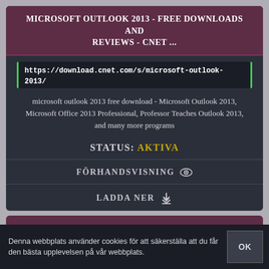MICROSOFT OUTLOOK 2013 - FREE DOWNLOADS AND REVIEWS - CNET ...
https://download.cnet.com/s/microsoft-outlook-2013/
microsoft outlook 2013 free download - Microsoft Outlook 2013, Microsoft Office 2013 Professional, Professor Teaches Outlook 2013, and many more programs
STATUS: AKTIVA
FÖRHANDSVISNING
LADDA NER
AMF 2013 - FREE DOWNLOADS AND REVIEWS - CNET DOWNLOAD.COM
Denna webbplats använder cookies för att säkerställa att du får den bästa upplevelsen på vår webbplats.